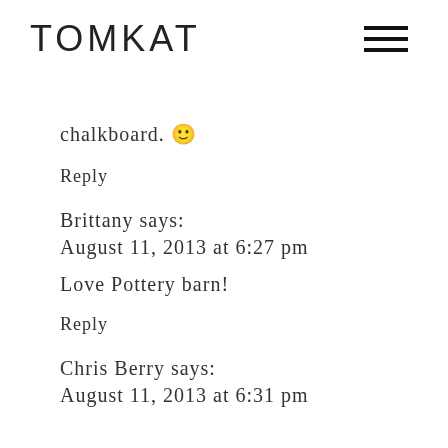TOMKAT
chalkboard. 🙂
Reply
Brittany says:
August 11, 2013 at 6:27 pm
Love Pottery barn!
Reply
Chris Berry says:
August 11, 2013 at 6:31 pm